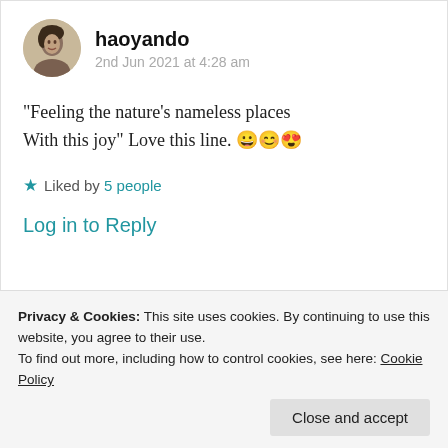[Figure (photo): Circular avatar photo of user haoyando — a vintage-style black and white portrait of a woman]
haoyando
2nd Jun 2021 at 4:28 am
“Feeling the nature’s nameless places With this joy” Love this line. 😀😊😍
★ Liked by 5 people
Log in to Reply
Privacy & Cookies: This site uses cookies. By continuing to use this website, you agree to their use.
To find out more, including how to control cookies, see here: Cookie Policy